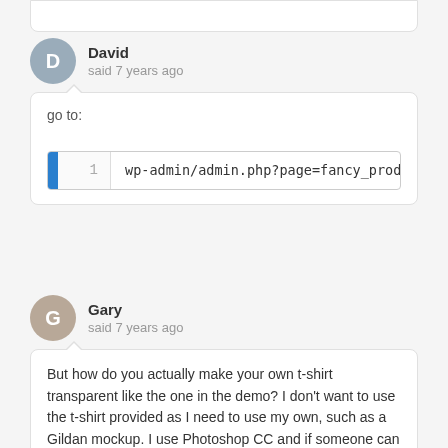David said 7 years ago
go to:
[Figure (screenshot): Code editor line showing: wp-admin/admin.php?page=fancy_product_]
Gary said 7 years ago
But how do you actually make your own t-shirt transparent like the one in the demo? I don't want to use the t-shirt provided as I need to use my own, such as a Gildan mockup. I use Photoshop CC and if someone can point me to a tutorial on how to make that overlay t-shirt be transparent that would be great! Thank